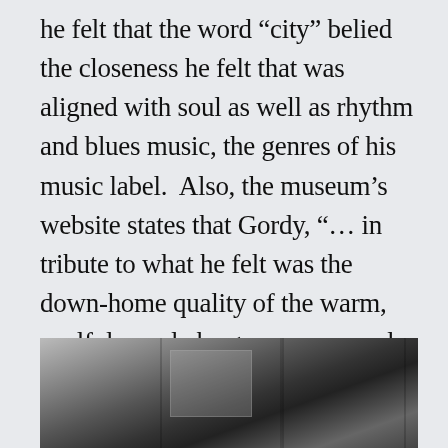he felt that the word “city” belied the closeness he felt that was aligned with soul as well as rhythm and blues music, the genres of his music label.  Also, the museum’s website states that Gordy, “… in tribute to what he felt was the down-home quality of the warm, soulful people he grew up around, used ‘town’ in place of city, which gave him the contraction ‘Motor Town’ and the perfect name … ‘Motown’”.
[Figure (photo): Black and white photograph showing what appears to be the exterior of a building with architectural details visible at the bottom of the page.]